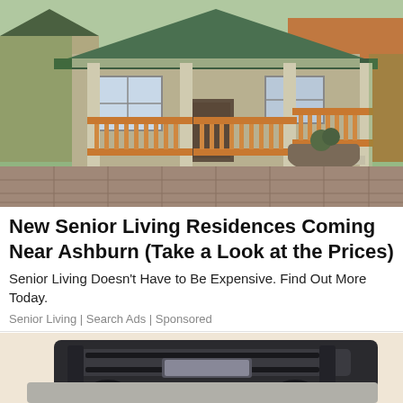[Figure (photo): Photo of a craftsman-style house with a covered front porch featuring wooden railings and columns, paved patio, and landscaping.]
New Senior Living Residences Coming Near Ashburn (Take a Look at the Prices)
Senior Living Doesn't Have to Be Expensive. Find Out More Today.
Senior Living | Search Ads | Sponsored
[Figure (photo): Photo of a dark-colored car roof/trunk area with luggage rack or cargo carrier, partial view from above at an angle, on a light beige background.]